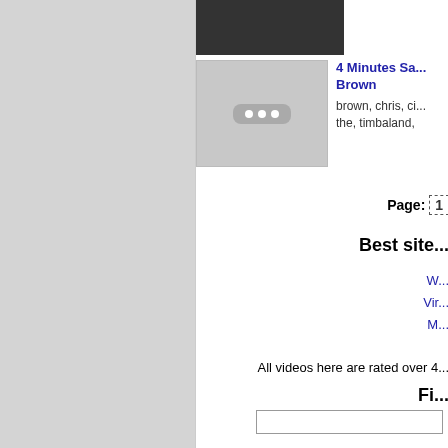[Figure (photo): Top thumbnail image showing a dark/black and white photo, partially visible]
[Figure (screenshot): Video thumbnail placeholder with three dots on gray background]
4 Minutes Sa... Brown
brown, chris, ci... the, timbaland,
Page: [1]
Best site...
W...
Vir...
M...
All videos here are rated over 4...
Fi...